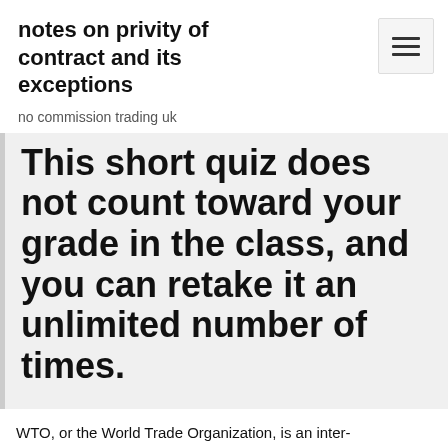notes on privity of contract and its exceptions
no commission trading uk
This short quiz does not count toward your grade in the class, and you can retake it an unlimited number of times.
WTO, or the World Trade Organization, is an inter-governmental body that disciplines trade between countries. It was formed in 1995, as a successor to the General Agreement on Trade and Tariffs (GATT). The GATT regulates trade in goods. The WTO on The World Trade Organization is an international body...